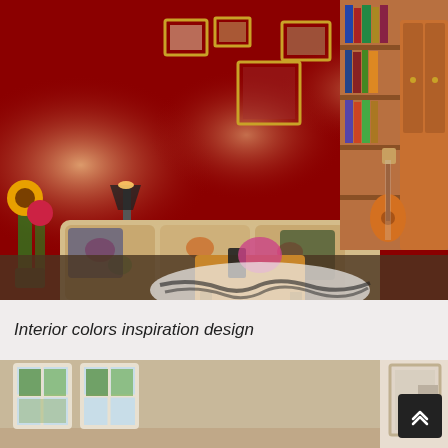[Figure (photo): Interior living room with bold red walls, floral patterned sofa, wooden coffee table, zebra print rug, acoustic guitar leaning against a bookshelf, wall sconces, and decorative picture frames on the walls.]
Interior colors inspiration design
[Figure (photo): Partial view of a light beige/tan interior room with windows showing outdoor greenery, and a doorway or opening visible on the right side.]